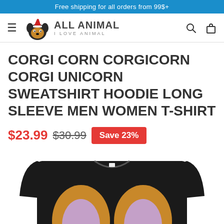Free shipping for all orders from 99$+
[Figure (logo): All Animal - I Love Animal logo with Santa hat corgi illustration]
CORGI CORN CORGICORN CORGI UNICORN SWEATSHIRT HOODIE LONG SLEEVE MEN WOMEN T-SHIRT
$23.99  $30.99  Save 23%
[Figure (photo): Black sweatshirt with corgi unicorn graphic, showing top portion with corgi ears visible]